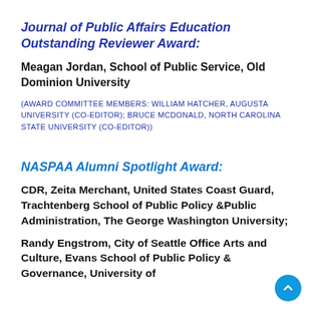Journal of Public Affairs Education Outstanding Reviewer Award:
Meagan Jordan, School of Public Service, Old Dominion University
(AWARD COMMITTEE MEMBERS: WILLIAM HATCHER, AUGUSTA UNIVERSITY (CO-EDITOR); BRUCE MCDONALD, NORTH CAROLINA STATE UNIVERSITY (CO-EDITOR))
NASPAA Alumni Spotlight Award:
CDR, Zeita Merchant, United States Coast Guard, Trachtenberg School of Public Policy &Public Administration, The George Washington University;
Randy Engstrom, City of Seattle Office Arts and Culture, Evans School of Public Policy & Governance, University of Washington;